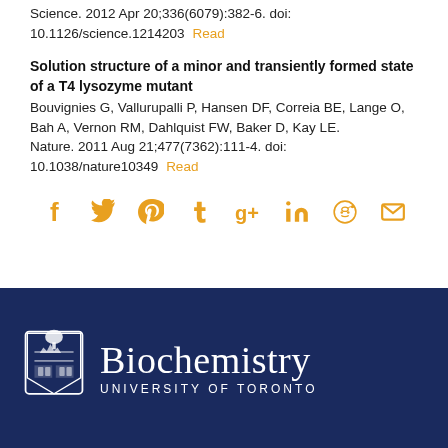Science. 2012 Apr 20;336(6079):382-6. doi: 10.1126/science.1214203  Read
Solution structure of a minor and transiently formed state of a T4 lysozyme mutant
Bouvignies G, Vallurupalli P, Hansen DF, Correia BE, Lange O, Bah A, Vernon RM, Dahlquist FW, Baker D, Kay LE. Nature. 2011 Aug 21;477(7362):111-4. doi: 10.1038/nature10349  Read
[Figure (infographic): Social sharing icons row: Facebook, Twitter, Pinterest, Tumblr, Google+, LinkedIn, Reddit, Email — all in orange/amber color]
[Figure (logo): University of Toronto Biochemistry department footer logo: dark navy blue background with UofT crest and text 'Biochemistry UNIVERSITY OF TORONTO' in white]